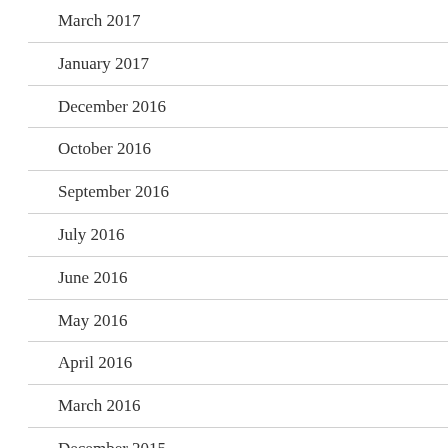March 2017
January 2017
December 2016
October 2016
September 2016
July 2016
June 2016
May 2016
April 2016
March 2016
December 2015